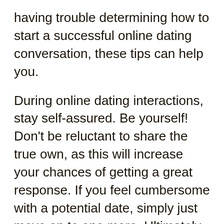having trouble determining how to start a successful online dating conversation, these tips can help you.
During online dating interactions, stay self-assured. Be yourself! Don’t be reluctant to share the true own, as this will increase your chances of getting a great response. If you feel cumbersome with a potential date, simply just move on to one more. Ultimately, online dating services conversations need not be painful — there are plenty of ways to prevent awkward situations and make meaningful associations. And remember, it might be